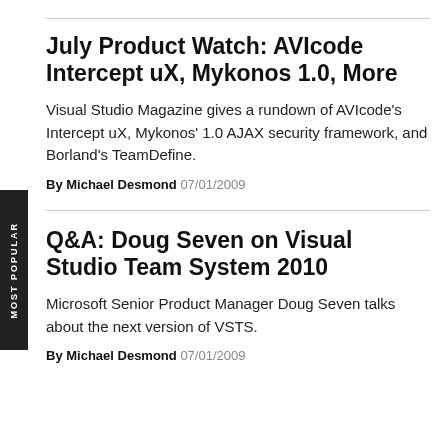July Product Watch: AVIcode Intercept uX, Mykonos 1.0, More
Visual Studio Magazine gives a rundown of AVIcode's Intercept uX, Mykonos' 1.0 AJAX security framework, and Borland's TeamDefine.
By Michael Desmond 07/01/2009
Q&A: Doug Seven on Visual Studio Team System 2010
Microsoft Senior Product Manager Doug Seven talks about the next version of VSTS.
By Michael Desmond 07/01/2009